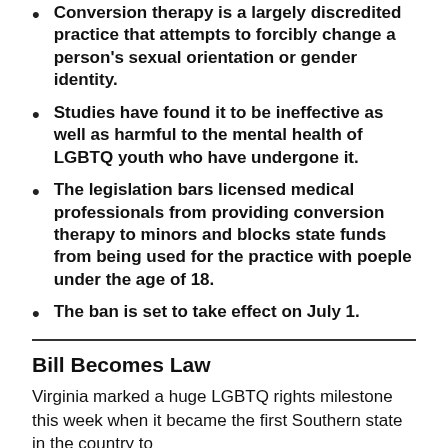Conversion therapy is a largely discredited practice that attempts to forcibly change a person's sexual orientation or gender identity.
Studies have found it to be ineffective as well as harmful to the mental health of LGBTQ youth who have undergone it.
The legislation bars licensed medical professionals from providing conversion therapy to minors and blocks state funds from being used for the practice with poeple under the age of 18.
The ban is set to take effect on July 1.
Bill Becomes Law
Virginia marked a huge LGBTQ rights milestone this week when it became the first Southern state in the country to...